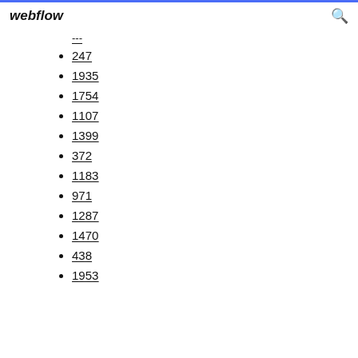webflow
---
247
1935
1754
1107
1399
372
1183
971
1287
1470
438
1953